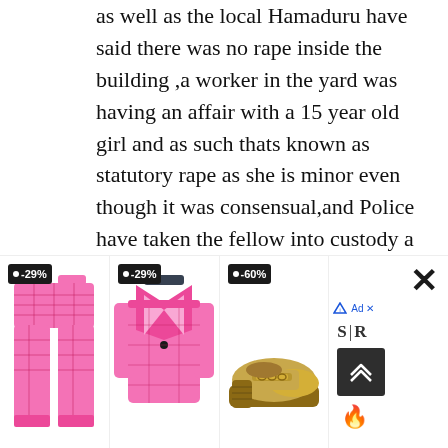as well as the local Hamaduru have said there was no rape inside the building ,a worker in the yard was having an affair with a 15 year old girl and as such thats known as statutory rape as she is minor even though it was consensual,and Police have taken the fellow into custody a week ago
Lester tell me how are the BBS going to tackle the Homagama PS member who rape a underage girl (with whose mother he was having an affair) all parties concerned are Sinhalese
Tell me sick man how are the BBS and you
[Figure (other): Advertisement banner showing three clothing/shoe items with discount badges (-29%, -29%, -60%) and a sidebar with a close X button, AdChoices link, S|R logo, scroll-up button, and fire icon]